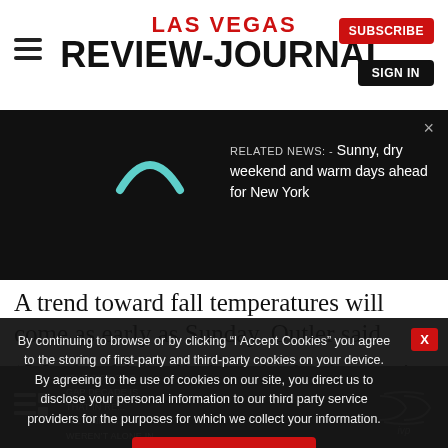LAS VEGAS REVIEW-JOURNAL
[Figure (screenshot): Related news banner with dark background showing a teal arc icon and text: RELATED NEWS: - Sunny, dry weekend and warm days ahead for New York]
A trend toward fall temperatures will come as early as Sunday, Outler said.
“We should finally have highs that are in the mid-90s instead of triple digits,” he said.
By continuing to browse or by clicking “I Accept Cookies” you agree to the storing of first-party and third-party cookies on your device. By agreeing to the use of cookies on our site, you direct us to disclose your personal information to our third party service providers for the purposes for which we collect your information.
I Accept Cookies